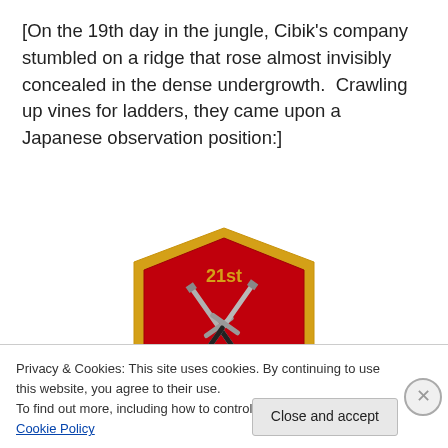[On the 19th day in the jungle, Cibik's company stumbled on a ridge that rose almost invisibly concealed in the dense undergrowth.  Crawling up vines for ladders, they came upon a Japanese observation position:]
[Figure (illustration): 21st Marines military patch/emblem: shield-shaped patch with gold border, red background, two crossed Mameluke swords in silver/gray, text '21st' in gold at top, 'MARINES' in large gold letters, 'BOUGAINILLE', 'GUAM', 'IWO JIMA' in smaller gold text below]
Privacy & Cookies: This site uses cookies. By continuing to use this website, you agree to their use.
To find out more, including how to control cookies, see here: Cookie Policy